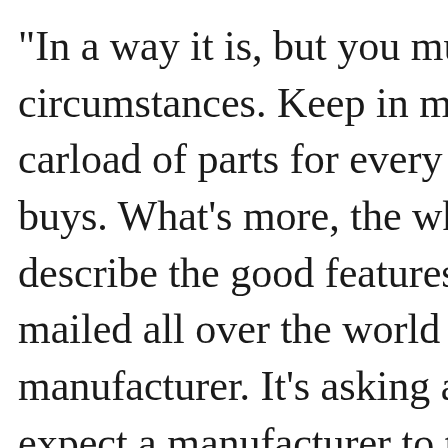"In a way it is, but you must admit the circumstances. Keep in mind the whole carload of parts for every hatful the in buys. What's more, the wholesale hous describe the good features of that prod mailed all over the world free of any e manufacturer. It's asking almost too m expect a manufacturer to turn down a